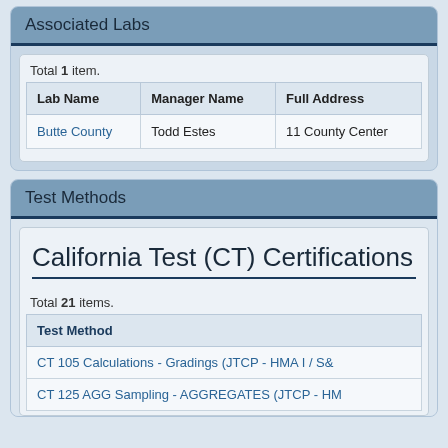Associated Labs
Total 1 item.
| Lab Name | Manager Name | Full Address |
| --- | --- | --- |
| Butte County | Todd Estes | 11 County Center |
Test Methods
California Test (CT) Certifications
Total 21 items.
| Test Method |
| --- |
| CT 105 Calculations - Gradings (JTCP - HMA I / S& |
| CT 125 AGG Sampling - AGGREGATES (JTCP - HM |